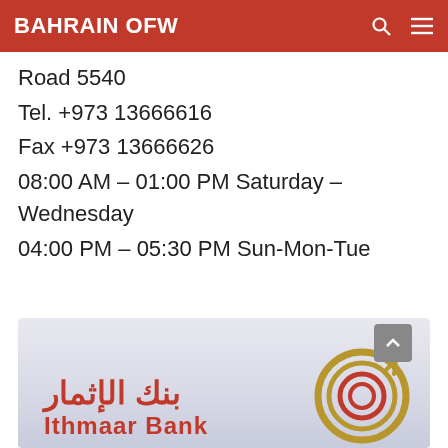BAHRAIN OFW
Road 5540
Tel. +973 13666616
Fax +973 13666626
08:00 AM – 01:00 PM Saturday – Wednesday
04:00 PM – 05:30 PM Sun-Mon-Tue
[Figure (logo): Ithmaar Bank logo with Arabic text and golden spiral circle graphic]